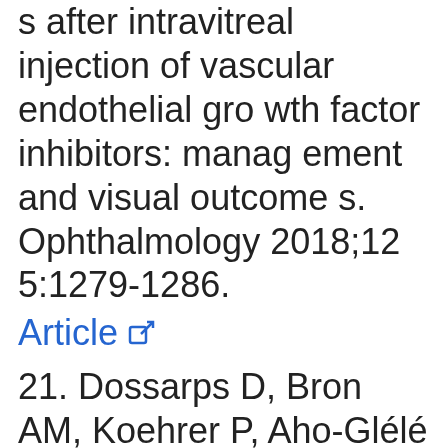s after intravitreal injection of vascular endothelial growth factor inhibitors: management and visual outcomes. Ophthalmology 2018;125:1279-1286.
Article [external link]
21. Dossarps D, Bron AM, Koehrer P, Aho-Glélé LS, Creuzot-Garcher C; FRCR net (FRenCh Retina specialists.net). Endophthalmitis aft...